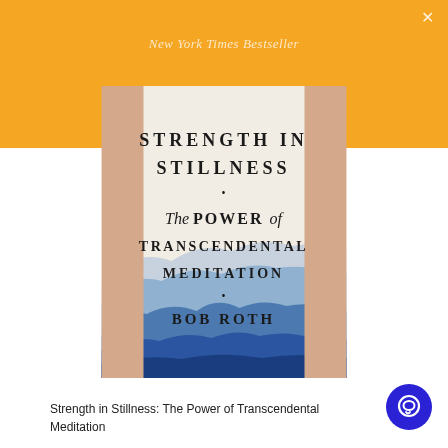New York Times Bestseller
[Figure (illustration): Book cover of 'Strength in Stillness: The Power of Transcendental Meditation' by Bob Roth. White/cream center panel with title text and a watercolor painting of blue mountains at the bottom, warm beige/peach sides.]
Strength in Stillness: The Power of Transcendental Meditation